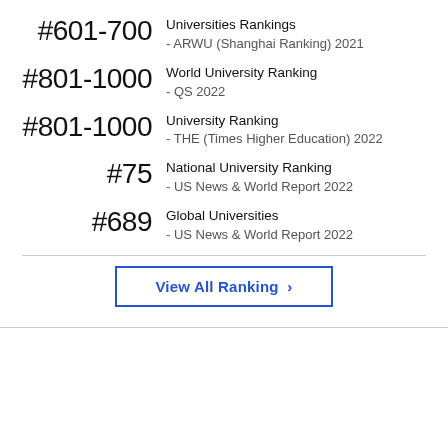#601-700 Universities Rankings - ARWU (Shanghai Ranking) 2021
#801-1000 World University Ranking - QS 2022
#801-1000 University Ranking - THE (Times Higher Education) 2022
#75 National University Ranking - US News & World Report 2022
#689 Global Universities - US News & World Report 2022
View All Ranking >